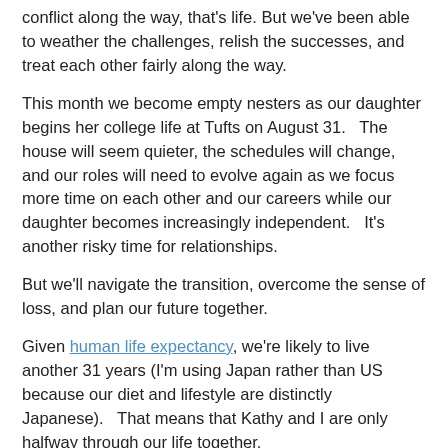conflict along the way, that's life. But we've been able to weather the challenges, relish the successes, and treat each other fairly along the way.
This month we become empty nesters as our daughter begins her college life at Tufts on August 31.   The house will seem quieter, the schedules will change, and our roles will need to evolve again as we focus more time on each other and our careers while our daughter becomes increasingly independent.   It's another risky time for relationships.
But we'll navigate the transition, overcome the sense of loss, and plan our future together.
Given human life expectancy, we're likely to live another 31 years (I'm using Japan rather than US because our diet and lifestyle are distinctly Japanese).   That means that Kathy and I are only halfway through our life together.
Happy Anniversary, Kathy.  The second half of our time together will be even better than the first.   I love you and always will.